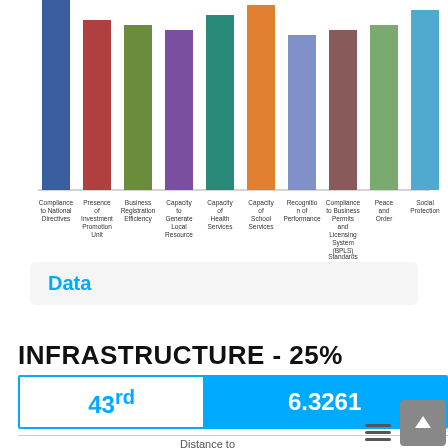[Figure (bar-chart): Partial bar chart showing 10 colored bars with axis labels below]
Data
INFRASTRUCTURE - 25%
| Rank | Score |
| --- | --- |
| 43rd | 6.3261 |
Distance to